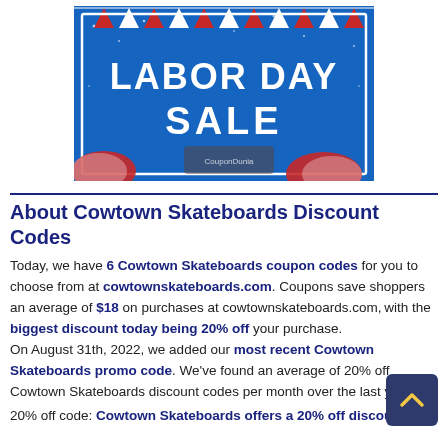[Figure (illustration): Labor Day Sale promotional banner with red, white, and blue patriotic theme. Blue background with bunting flags, large white text reading LABOR DAY SALE, and patriotic decorations including American flag imagery at the bottom. White rectangular border around the banner. CouponDunia watermark visible.]
About Cowtown Skateboards Discount Codes
Today, we have 6 Cowtown Skateboards coupon codes for you to choose from at cowtownskateboards.com. Coupons save shoppers an average of $18 on purchases at cowtownskateboards.com, with the biggest discount today being 20% off your purchase. On August 31th, 2022, we added our most recent Cowtown Skateboards promo code. We've found an average of 20% off Cowtown Skateboards discount codes per month over the last year.
20% off code: Cowtown Skateboards offers a 20% off discount